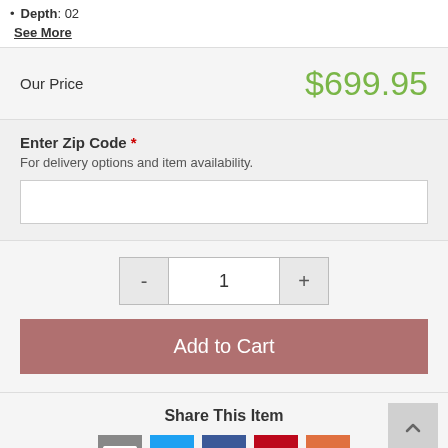Depth: 02
See More
Our Price   $699.95
Enter Zip Code * For delivery options and item availability.
Add to Cart
Share This Item